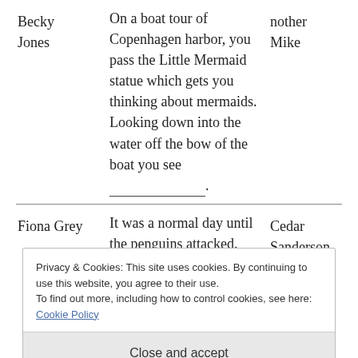Becky Jones | On a boat tour of Copenhagen harbor, you pass the Little Mermaid statue which gets you thinking about mermaids. Looking down into the water off the bow of the boat you see ___________. | nother Mike
Fiona Grey | It was a normal day until the penguins attacked. | Cedar Sanderson
Privacy & Cookies: This site uses cookies. By continuing to use this website, you agree to their use.
To find out more, including how to control cookies, see here: Cookie Policy
Close and accept